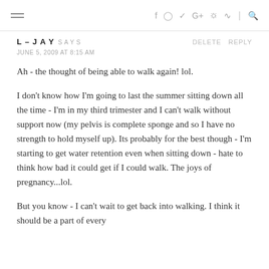≡  f  ⊙  𝕥  G+  𝕡  ⊳  |  🔍
L – J A Y SAYS   DELETE  REPLY
JUNE 5, 2009 AT 8:15 AM
Ah - the thought of being able to walk again! lol.
I don't know how I'm going to last the summer sitting down all the time - I'm in my third trimester and I can't walk without support now (my pelvis is complete sponge and so I have no strength to hold myself up). Its probably for the best though - I'm starting to get water retention even when sitting down - hate to think how bad it could get if I could walk. The joys of pregnancy...lol.
But you know - I can't wait to get back into walking. I think it should be a part of every